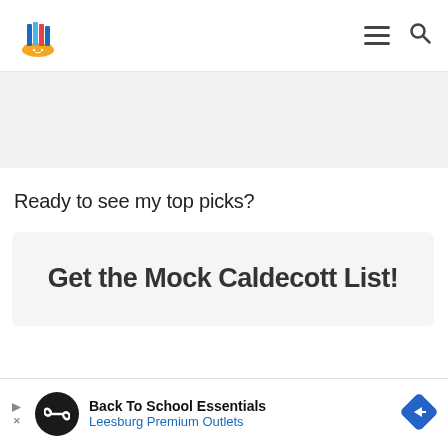[Figure (logo): Colorful book logo with books and orange base, site branding for a children's book review website]
Ready to see my top picks?
Get the Mock Caldecott List!
[Figure (infographic): Advertisement banner: Back To School Essentials - Leesburg Premium Outlets with circular logo and blue diamond arrow icon]